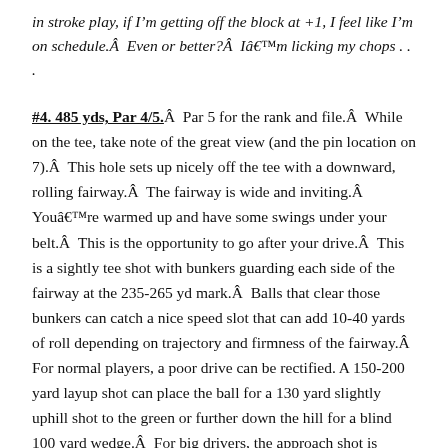in stroke play, if I'm getting off the block at +1, I feel like I'm on schedule.  Even or better?  I'm licking my chops . . .
#4. 485 yds, Par 4/5.  Par 5 for the rank and file.  While on the tee, take note of the great view (and the pin location on 7).  This hole sets up nicely off the tee with a downward, rolling fairway.  The fairway is wide and inviting.  You're warmed up and have some swings under your belt.  This is the opportunity to go after your drive.  This is a sightly tee shot with bunkers guarding each side of the fairway at the 235-265 yd mark.  Balls that clear those bunkers can catch a nice speed slot that can add 10-40 yards of roll depending on trajectory and firmness of the fairway.  For normal players, a poor drive can be rectified. A 150-200 yard layup shot can place the ball for a 130 yard slightly uphill shot to the green or further down the hill for a blind 100 yard wedge.  For big drivers, the approach shot is anywhere from 220-150 yards into the green from a downhill lie.  Fescue up the hill